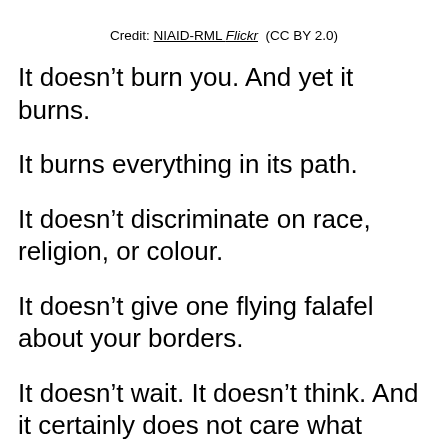Credit: NIAID-RML Flickr (CC BY 2.0)
It doesn’t burn you. And yet it burns.
It burns everything in its path.
It doesn’t discriminate on race, religion, or colour.
It doesn’t give one flying falafel about your borders.
It doesn’t wait. It doesn’t think. And it certainly does not care what businesses it shuts down.